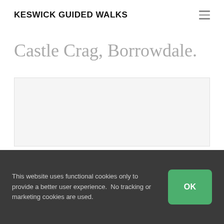KESWICK GUIDED WALKS
Castle Crag,  Borrowdale.
[Figure (photo): A blank/white image placeholder for Castle Crag, Borrowdale photo]
This website uses functional cookies only to provide a better user experience.  No tracking or marketing cookies are used.